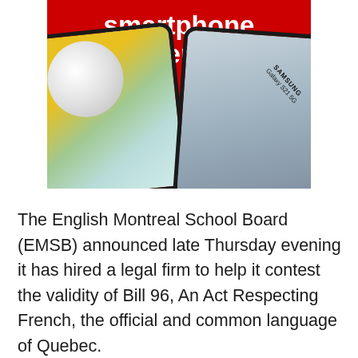[Figure (illustration): Advertisement banner on a red background showing two Samsung smartphones (Galaxy S21 5G on the right) with the text 'smartphone offers ▶' in white bold text at the top center.]
The English Montreal School Board (EMSB) announced late Thursday evening it has hired a legal firm to help it contest the validity of Bill 96, An Act Respecting French, the official and common language of Quebec.